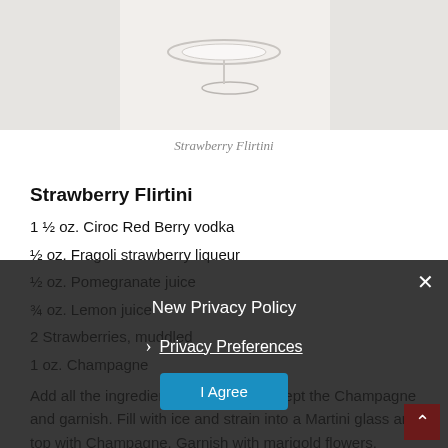[Figure (photo): Top-down photo of a cocktail glass (Martini glass) on a light marble surface, partially cropped]
Strawberry Flirtini
Strawberry Flirtini
1 ½ oz. Ciroc Red Berry vodka
½ oz. Fragoli strawberry liqueur
½ oz. Pomegranate juice
¾ oz. Lemon juice
2 Strawberries, muddled
1 oz. Champagne
Add all the ingredients to a shaker except the Champagne and garnish. Fill with ice and strain into a Martini glass and top with Champagne. Garnish with marigold flowers, strawberries and pomegranate.
New Privacy Policy
Privacy Preferences
I Agree